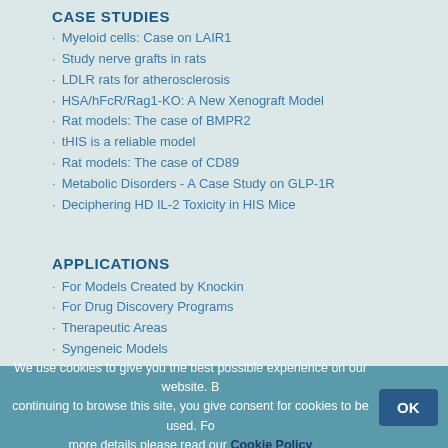CASE STUDIES
Myeloid cells: Case on LAIR1
Study nerve grafts in rats
LDLR rats for atherosclerosis
HSA/hFcR/Rag1-KO: A New Xenograft Model
Rat models: The case of BMPR2
tHIS is a reliable model
Rat models: The case of CD89
Metabolic Disorders - A Case Study on GLP-1R
Deciphering HD IL-2 Toxicity in HIS Mice
APPLICATIONS
For Models Created by Knockin
For Drug Discovery Programs
Therapeutic Areas
Syngeneic Models
LATEST NEWS
CRISPR/Cas9 models for industry
We use cookies to give you the best possible experience on our website. By continuing to browse this site, you give consent for cookies to be used. For more details please read our Cookie Policy OK